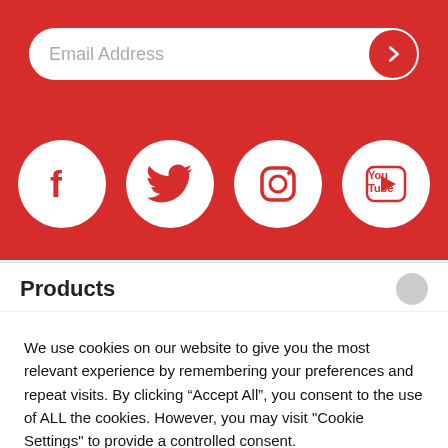[Figure (infographic): Red background section with email address input bar (white pill shape with placeholder text 'Email Address' and a red circular arrow/chevron button) and four social media icons below (Facebook, Twitter, Instagram, YouTube) as white circles with red icons.]
Products
We use cookies on our website to give you the most relevant experience by remembering your preferences and repeat visits. By clicking “Accept All”, you consent to the use of ALL the cookies. However, you may visit "Cookie Settings" to provide a controlled consent.
Cookie Settings   Accept All